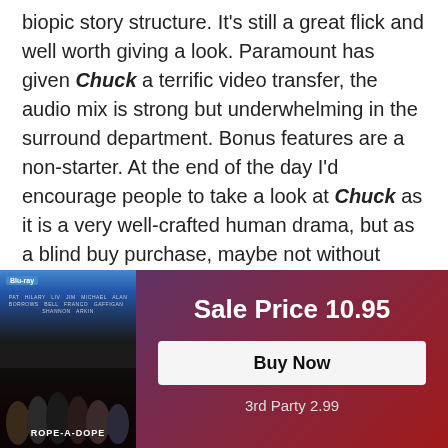biopic story structure. It's still a great flick and well worth giving a look. Paramount has given Chuck a terrific video transfer, the audio mix is strong but underwhelming in the surround department. Bonus features are a non-starter. At the end of the day I'd encourage people to take a look at Chuck as it is a very well-crafted human drama, but as a blind buy purchase, maybe not without seeing the film first. Make sure you want to have it on your shelf. Worth a look.
Sale Price 10.95
Buy Now
3rd Party 2.99